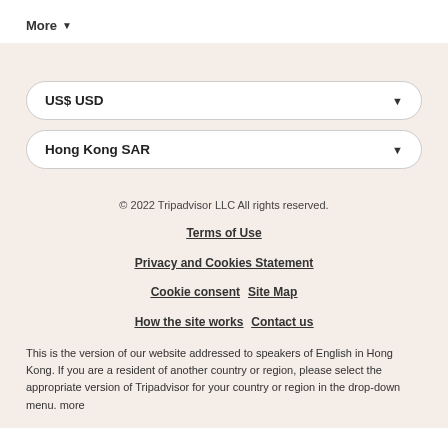More ▾
US$ USD
Hong Kong SAR
© 2022 Tripadvisor LLC All rights reserved.
Terms of Use
Privacy and Cookies Statement
Cookie consent   Site Map
How the site works   Contact us
This is the version of our website addressed to speakers of English in Hong Kong. If you are a resident of another country or region, please select the appropriate version of Tripadvisor for your country or region in the drop-down menu. more